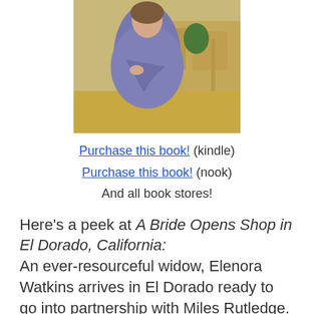[Figure (photo): Book cover photo of a woman in a purple/lavender shawl standing in front of an old western town street]
Purchase this book! (kindle)
Purchase this book! (nook)
And all book stores!
Here’s a peek at A Bride Opens Shop in El Dorado, California:
An ever-resourceful widow, Elenora Watkins arrives in El Dorado ready to go into partnership with Miles Rutledge. When he refuses, Elenora becomes the competition across the street. Is this town big enough for the two of them? Miles can’t help but stick his well-polished boot in his mouth whenever he